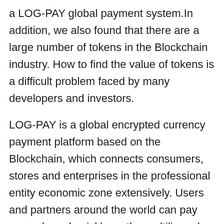a LOG-PAY global payment system.In addition, we also found that there are a large number of tokens in the Blockchain industry. How to find the value of tokens is a difficult problem faced by many developers and investors.
LOG-PAY is a global encrypted currency payment platform based on the Blockchain, which connects consumers, stores and enterprises in the professional entity economic zone extensively. Users and partners around the world can pay securely and quickly on the multilingual LOG-PAY platform, and various alliance groups can use LOG wallet and LOG-POS to obtain services such as promotion, payment and sales management. Therefore, solving the problems of traditional industries and boosting the traditional economy is the initial idea initiated by LOGOS, and it is also an effective solution for the value discovery of current ecological tokens.